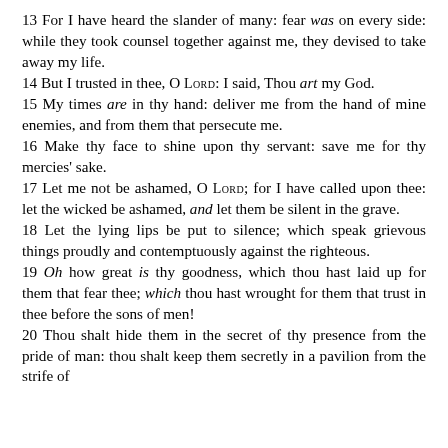13 For I have heard the slander of many: fear was on every side: while they took counsel together against me, they devised to take away my life.
14 But I trusted in thee, O LORD: I said, Thou art my God.
15 My times are in thy hand: deliver me from the hand of mine enemies, and from them that persecute me.
16 Make thy face to shine upon thy servant: save me for thy mercies' sake.
17 Let me not be ashamed, O LORD; for I have called upon thee: let the wicked be ashamed, and let them be silent in the grave.
18 Let the lying lips be put to silence; which speak grievous things proudly and contemptuously against the righteous.
19 Oh how great is thy goodness, which thou hast laid up for them that fear thee; which thou hast wrought for them that trust in thee before the sons of men!
20 Thou shalt hide them in the secret of thy presence from the pride of man: thou shalt keep them secretly in a pavilion from the strife of